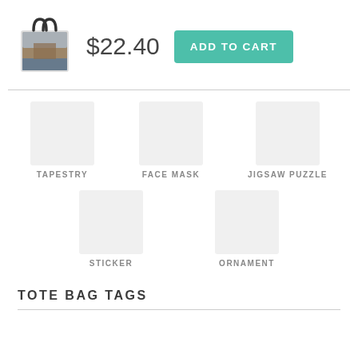[Figure (photo): Tote bag with historical painting print (Washington crossing the Delaware)]
$22.40
ADD TO CART
TAPESTRY
FACE MASK
JIGSAW PUZZLE
STICKER
ORNAMENT
TOTE BAG TAGS